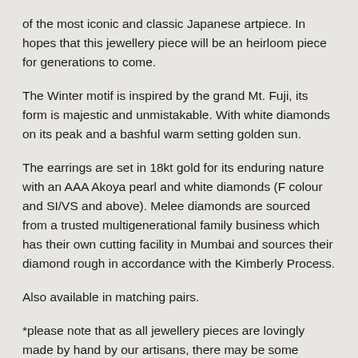of the most iconic and classic Japanese artpiece. In hopes that this jewellery piece will be an heirloom piece for generations to come.
The Winter motif is inspired by the grand Mt. Fuji, its form is majestic and unmistakable. With white diamonds on its peak and a bashful warm setting golden sun.
The earrings are set in 18kt gold for its enduring nature with an AAA Akoya pearl and white diamonds (F colour and SI/VS and above). Melee diamonds are sourced from a trusted multigenerational family business which has their own cutting facility in Mumbai and sources their diamond rough in accordance with the Kimberly Process.
Also available in matching pairs.
*please note that as all jewellery pieces are lovingly made by hand by our artisans, there may be some difference in diamond position placements from piece to piece. Small variations are to